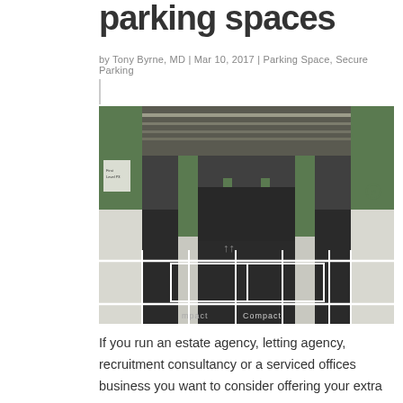parking spaces
by Tony Byrne, MD | Mar 10, 2017 | Parking Space, Secure Parking
[Figure (photo): Interior of a multi-storey car park with green and white painted pillars, marked parking bays including 'Compact' spaces, and fluorescent ceiling lighting.]
If you run an estate agency, letting agency, recruitment consultancy or a serviced offices business you want to consider offering your extra